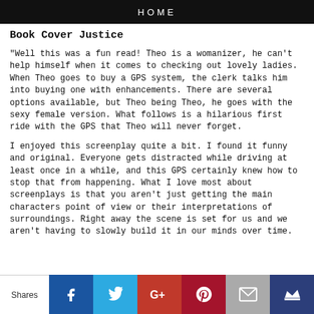HOME
Book Cover Justice
"Well this was a fun read! Theo is a womanizer, he can't help himself when it comes to checking out lovely ladies. When Theo goes to buy a GPS system, the clerk talks him into buying one with enhancements. There are several options available, but Theo being Theo, he goes with the sexy female version. What follows is a hilarious first ride with the GPS that Theo will never forget.
I enjoyed this screenplay quite a bit. I found it funny and original. Everyone gets distracted while driving at least once in a while, and this GPS certainly knew how to stop that from happening. What I love most about screenplays is that you aren't just getting the main characters point of view or their interpretations of surroundings. Right away the scene is set for us and we aren't having to slowly build it in our minds over time.
Shares | Facebook | Twitter | Google+ | Pinterest | Email | Crown